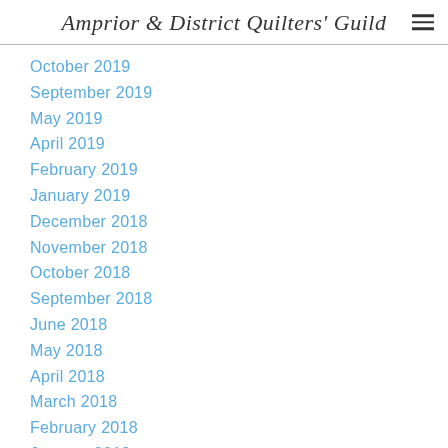Amprior & District Quilters' Guild
October 2019
September 2019
May 2019
April 2019
February 2019
January 2019
December 2018
November 2018
October 2018
September 2018
June 2018
May 2018
April 2018
March 2018
February 2018
January 2018
December 2017